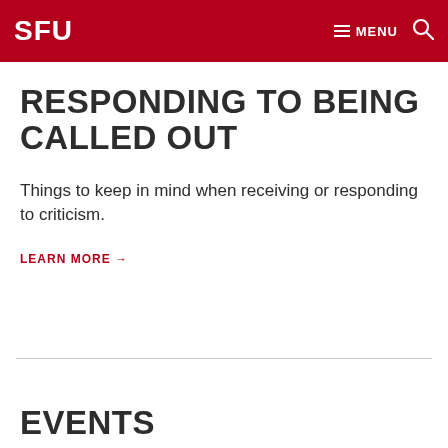SFU  MENU
RESPONDING TO BEING CALLED OUT
Things to keep in mind when receiving or responding to criticism.
LEARN MORE →
EVENTS